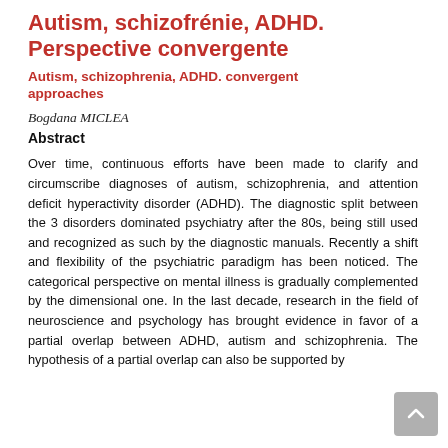Autism, schizofrénie, ADHD. Perspective convergente
Autism, schizophrenia, ADHD. convergent approaches
Bogdana MICLEA
Abstract
Over time, continuous efforts have been made to clarify and circumscribe diagnoses of autism, schizophrenia, and attention deficit hyperactivity disorder (ADHD). The diagnostic split between the 3 disorders dominated psychiatry after the 80s, being still used and recognized as such by the diagnostic manuals. Recently a shift and flexibility of the psychiatric paradigm has been noticed. The categorical perspective on mental illness is gradually complemented by the dimensional one. In the last decade, research in the field of neuroscience and psychology has brought evidence in favor of a partial overlap between ADHD, autism and schizophrenia. The hypothesis of a partial overlap can also be supported by